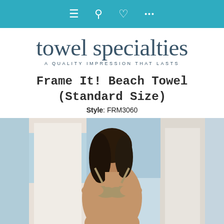Navigation bar with menu, search, heart/wishlist, and more icons
towel specialties — A QUALITY IMPRESSION THAT LASTS
Frame It! Beach Towel (Standard Size)
Style: FRM3060
[Figure (photo): Product photo of a female model wearing a bikini, posed against a bright beach/coastal background with architectural columns and ocean view visible.]